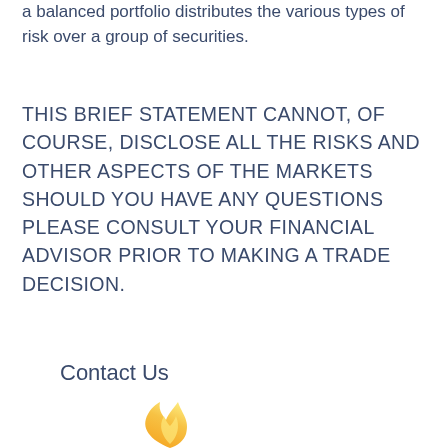a balanced portfolio distributes the various types of risk over a group of securities.
THIS BRIEF STATEMENT CANNOT, OF COURSE, DISCLOSE ALL THE RISKS AND OTHER ASPECTS OF THE MARKETS SHOULD YOU HAVE ANY QUESTIONS PLEASE CONSULT YOUR FINANCIAL ADVISOR PRIOR TO MAKING A TRADE DECISION.
Contact Us
[Figure (illustration): Flame logo icon in orange/yellow gradient]